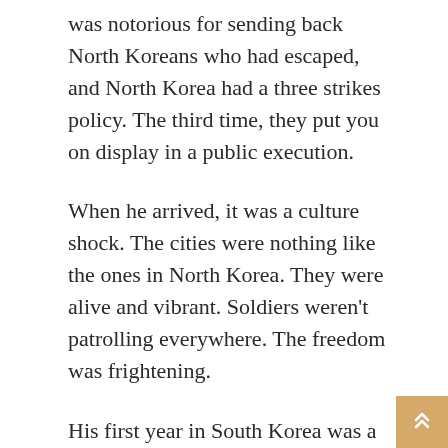was notorious for sending back North Koreans who had escaped, and North Korea had a three strikes policy. The third time, they put you on display in a public execution.
When he arrived, it was a culture shock. The cities were nothing like the ones in North Korea. They were alive and vibrant. Soldiers weren't patrolling everywhere. The freedom was frightening.
His first year in South Korea was a hard one. He came there with no family, no support. Taking whatever jobs he could to survive, he worked very hard. The only jobs available to him were at